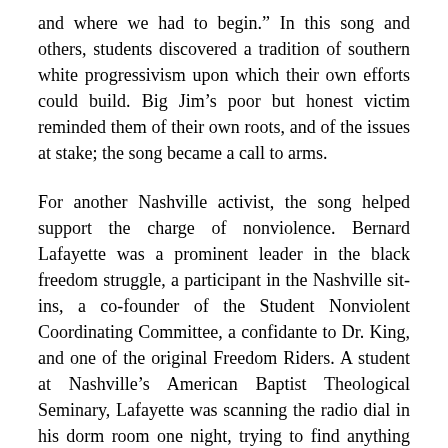and where we had to begin.” In this song and others, students discovered a tradition of southern white progressivism upon which their own efforts could build. Big Jim’s poor but honest victim reminded them of their own roots, and of the issues at stake; the song became a call to arms.
For another Nashville activist, the song helped support the charge of nonviolence. Bernard Lafayette was a prominent leader in the black freedom struggle, a participant in the Nashville sit-ins, a co-founder of the Student Nonviolent Coordinating Committee, a confidante to Dr. King, and one of the original Freedom Riders. A student at Nashville’s American Baptist Theological Seminary, Lafayette was scanning the radio dial in his dorm room one night, trying to find anything besides the twangy, redneck country that seemed to dominate the airwaves. Hearing one song which